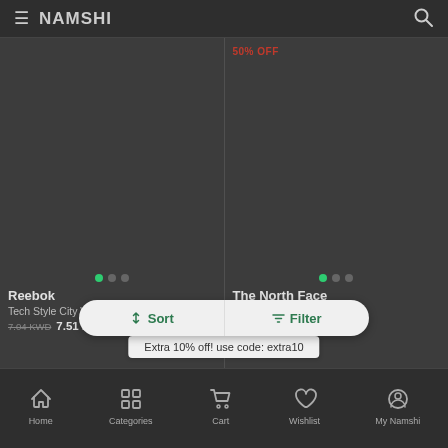NAMSHI
50% OFF
[Figure (photo): Product image area for Reebok Tech Style City Waistbag]
[Figure (photo): Product image area for The North Face Bozer Neck Waistbag]
Reebok
Tech Style City Waistbag
7.04 KWD  7.51 KWD
The North Face
Bozer Neck Waistbag
Sort
Filter
Extra 10% off! use code: extra10
Home  Categories  Cart  Wishlist  My Namshi